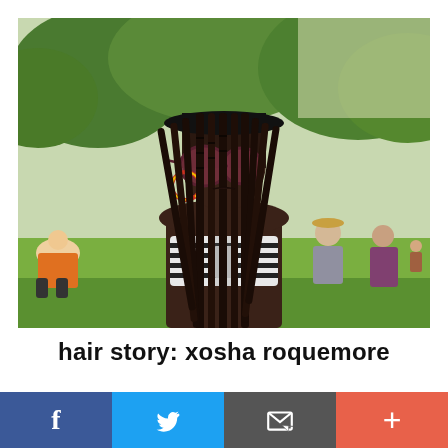[Figure (photo): Young Black woman with long box braids, wearing large round sunglasses and colorful hoop earrings, striped bandeau top, outdoors in a sunny park with people sitting on grass in the background and trees.]
hair story: xosha roquemore
For this month's "Hair Story" we caught up with actress,